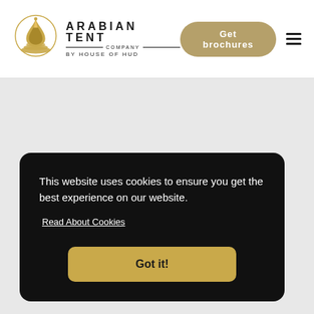[Figure (logo): Arabian Tent Company by House of Hud logo with golden geometric tent/flame icon and text]
Arabian Tent Company – By House of Hud | Get brochures | Navigation menu
[Figure (other): Gray background content area (page body, mostly empty)]
This website uses cookies to ensure you get the best experience on our website.
Read About Cookies
Got it!